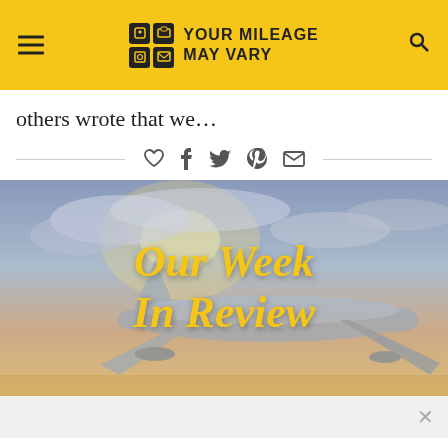YOUR MILEAGE MAY VARY
others wrote that we…
[Figure (illustration): Social sharing icons: heart, facebook, twitter, pinterest, email]
[Figure (photo): Airplane silhouette against sunset sky with overlaid text 'Our Week In Review' in yellow italic script font]
[Figure (other): Advertisement bar at bottom with close X button]